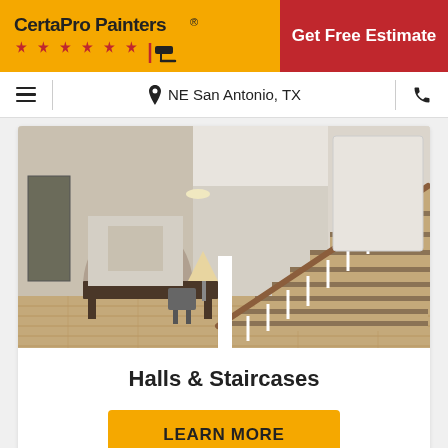CertaPro Painters® | Get Free Estimate
NE San Antonio, TX
[Figure (photo): Interior home photo showing a hallway with a wooden staircase with white balusters and wood handrail, carpeted treads, open-plan living area with hardwood floors, vintage dark wood sideboard, dining chair, wall art, and view into kitchen]
Halls & Staircases
LEARN MORE